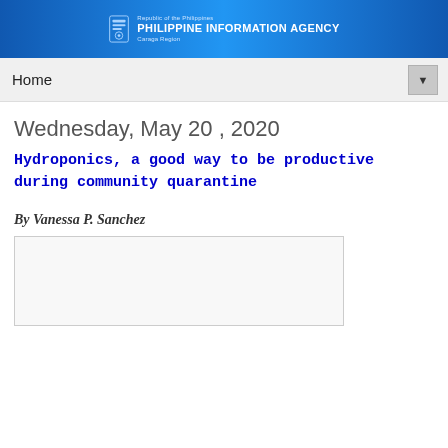Republic of the Philippines PHILIPPINE INFORMATION AGENCY Caraga Region
Home
Wednesday, May 20 , 2020
Hydroponics, a good way to be productive during community quarantine
By Vanessa P. Sanchez
[Figure (photo): Image placeholder related to hydroponics article]